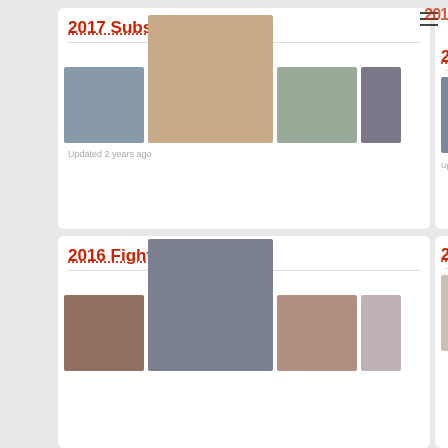[Figure (other): Card showing '2017 Subs of the Year' with three MMA fighter photos (left side, large center, right side) and text 'Updated 2 years ago']
[Figure (other): Partial card on top-right showing '201...' title and one fighter photo (partially cut off)]
[Figure (other): Card showing '2016 Fights of the Year' with three MMA fighter photos including a large center image of a bearded fighter (Conor McGregor style)]
[Figure (other): Partial card on bottom-right showing '201...' title and one fighter photo (partially cut off)]